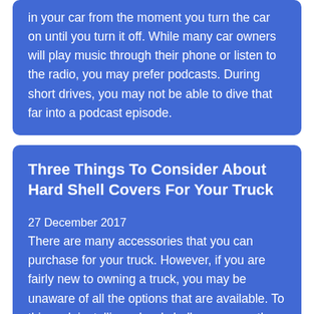in your car from the moment you turn the car on until you turn it off. While many car owners will play music through their phone or listen to the radio, you may prefer podcasts. During short drives, you may not be able to dive that far into a podcast episode.
Three Things To Consider About Hard Shell Covers For Your Truck
27 December 2017
There are many accessories that you can purchase for your truck. However, if you are fairly new to owning a truck, you may be unaware of all the options that are available. To this end, installing a hard shell camper on the back of your truck can be an excellent investment, but you may want to review a few key points about this upgrade before you can effectively decid